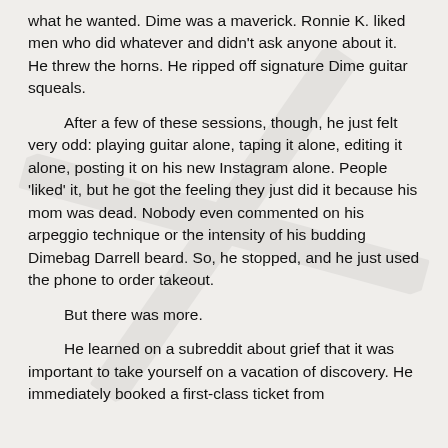what he wanted. Dime was a maverick. Ronnie K. liked men who did whatever and didn't ask anyone about it. He threw the horns. He ripped off signature Dime guitar squeals.
After a few of these sessions, though, he just felt very odd: playing guitar alone, taping it alone, editing it alone, posting it on his new Instagram alone. People 'liked' it, but he got the feeling they just did it because his mom was dead. Nobody even commented on his arpeggio technique or the intensity of his budding Dimebag Darrell beard. So, he stopped, and he just used the phone to order takeout.
But there was more.
He learned on a subreddit about grief that it was important to take yourself on a vacation of discovery. He immediately booked a first-class ticket from